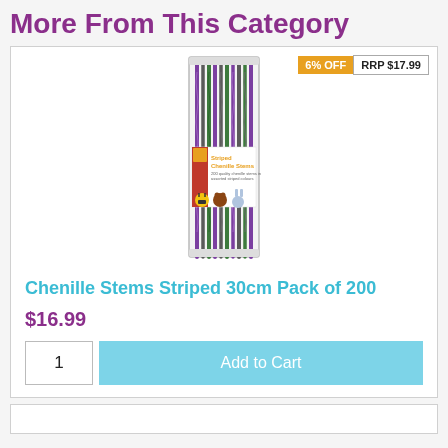More From This Category
[Figure (photo): Product photo of Chenille Stems Striped 30cm Pack of 200 – a tall clear package filled with multicolored striped chenille stems (pipe cleaners) in purple, green, and dark colors, with a label showing cartoon animals made from chenille stems. Badge shows 6% OFF and RRP $17.99.]
Chenille Stems Striped 30cm Pack of 200
$16.99
1
Add to Cart